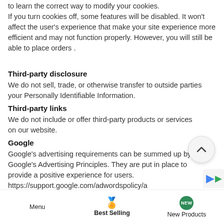to learn the correct way to modify your cookies. If you turn cookies off, some features will be disabled. It won't affect the user's experience that make your site experience more efficient and may not function properly. However, you will still be able to place orders .
Third-party disclosure
We do not sell, trade, or otherwise transfer to outside parties your Personally Identifiable Information.
Third-party links
We do not include or offer third-party products or services on our website.
Google
Google's advertising requirements can be summed up by Google's Advertising Principles. They are put in place to provide a positive experience for users. https://support.google.com/adwordspolicy/a
Menu   Best Selling   New Products